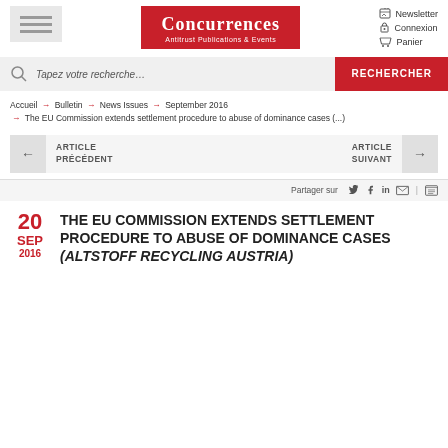[Figure (logo): Concurrences - Antitrust Publications & Events logo with red background]
Newsletter
Connexion
Panier
[Figure (screenshot): Search bar with 'Tapez votre recherche...' placeholder and red RECHERCHER button]
Accueil → Bulletin → News Issues → September 2016 → The EU Commission extends settlement procedure to abuse of dominance cases (...)
← ARTICLE PRÉCÉDENT    ARTICLE SUIVANT →
Partager sur
THE EU COMMISSION EXTENDS SETTLEMENT PROCEDURE TO ABUSE OF DOMINANCE CASES (ALTSTOFF RECYCLING AUSTRIA)
20 SEP 2016